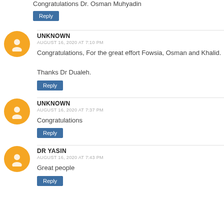Congratulations Dr. Osman Muhyadin
Reply
UNKNOWN
AUGUST 16, 2020 AT 7:10 PM
Congratulations, For the great effort Fowsia, Osman and Khalid.

Thanks Dr Dualeh.
Reply
UNKNOWN
AUGUST 16, 2020 AT 7:37 PM
Congratulations
Reply
DR YASIN
AUGUST 16, 2020 AT 7:43 PM
Great people
Reply